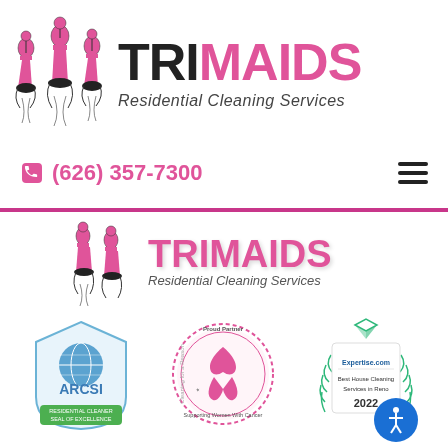[Figure (logo): TriMaids logo with chess piece figures and brand name text. Top half shows full logo with phone number and hamburger menu.]
(626) 357-7300
[Figure (logo): TriMaids logo repeated in bottom sticky header section with Residential Cleaning Services tagline]
[Figure (infographic): Three certification/award badges: ARCSI Residential Cleaning Excellence badge, Cleaning for a Reason Proud Partner badge supporting Women with Cancer, and Expertise.com Best House Cleaning Services in Reno 2022 badge]